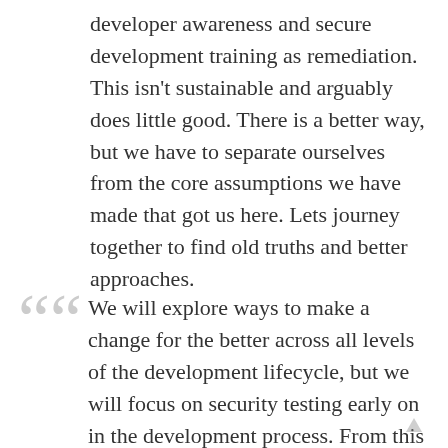developer awareness and secure development training as remediation. This isn't sustainable and arguably does little good. There is a better way, but we have to separate ourselves from the core assumptions we have made that got us here. Lets journey together to find old truths and better approaches.
We will explore ways to make a change for the better across all levels of the development lifecycle, but we will focus on security testing early on in the development process. From this